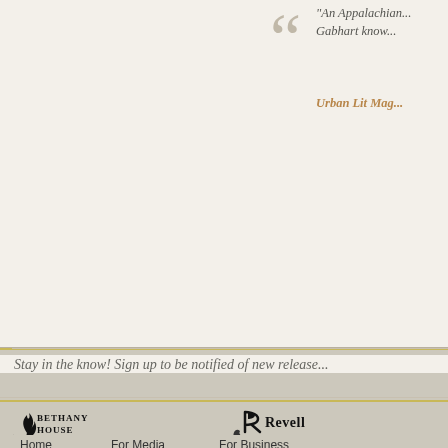"An Appalachian... Gabhart know...
Urban Lit Mag...
Stay in the know! Sign up to be notified of new release...
[Figure (logo): Bethany House publisher logo]
[Figure (logo): Revell publisher logo]
[Figure (logo): Baker Academic publisher logo]
[Figure (logo): Brazos Press publisher logo]
Home   For Media   For Business